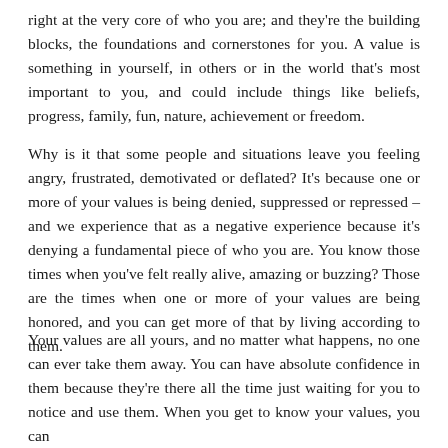right at the very core of who you are; and they're the building blocks, the foundations and cornerstones for you. A value is something in yourself, in others or in the world that's most important to you, and could include things like beliefs, progress, family, fun, nature, achievement or freedom.
Why is it that some people and situations leave you feeling angry, frustrated, demotivated or deflated? It's because one or more of your values is being denied, suppressed or repressed – and we experience that as a negative experience because it's denying a fundamental piece of who you are. You know those times when you've felt really alive, amazing or buzzing? Those are the times when one or more of your values are being honored, and you can get more of that by living according to them.
Your values are all yours, and no matter what happens, no one can ever take them away. You can have absolute confidence in them because they're there all the time just waiting for you to notice and use them. When you get to know your values, you can